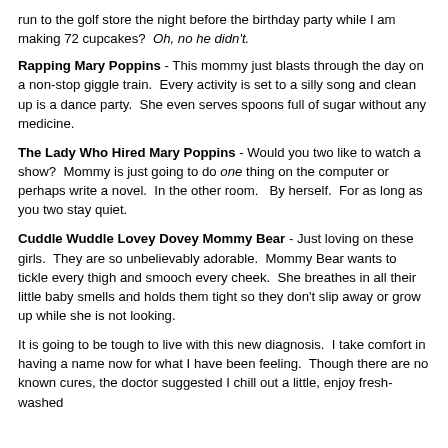run to the golf store the night before the birthday party while I am making 72 cupcakes?  Oh, no he didn't.
Rapping Mary Poppins - This mommy just blasts through the day on a non-stop giggle train.  Every activity is set to a silly song and clean up is a dance party.  She even serves spoons full of sugar without any medicine.
The Lady Who Hired Mary Poppins - Would you two like to watch a show?  Mommy is just going to do one thing on the computer or perhaps write a novel.  In the other room.   By herself.  For as long as you two stay quiet.
Cuddle Wuddle Lovey Dovey Mommy Bear - Just loving on these girls.  They are so unbelievably adorable.  Mommy Bear wants to tickle every thigh and smooch every cheek.  She breathes in all their little baby smells and holds them tight so they don't slip away or grow up while she is not looking.
It is going to be tough to live with this new diagnosis.  I take comfort in having a name now for what I have been feeling.  Though there are no known cures, the doctor suggested I chill out a little, enjoy fresh-washed